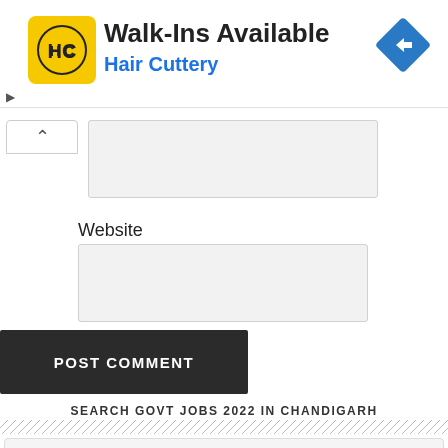[Figure (screenshot): Hair Cuttery advertisement banner with yellow logo showing 'HC', title 'Walk-Ins Available', subtitle 'Hair Cuttery' in blue, and a blue navigation/direction icon on the right]
[Figure (screenshot): Web form section with collapsed input field (caret/up arrow), a text input area, Website label, website input field, POST COMMENT button, SEARCH GOVT JOBS 2022 IN CHANDIGARH banner, diagonal line separator, and search box with placeholder 'Search this website']